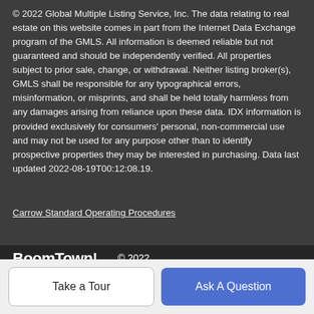© 2022 Global Multiple Listing Service, Inc. The data relating to real estate on this website comes in part from the Internet Data Exchange program of the GMLS. All information is deemed reliable but not guaranteed and should be independently verified. All properties subject to prior sale, change, or withdrawal. Neither listing broker(s), GMLS shall be responsible for any typographical errors, misinformation, or misprints, and shall be held totally harmless from any damages arising from reliance upon these data. IDX information is provided exclusively for consumers' personal, non-commercial use and may not be used for any purpose other than to identify prospective properties they may be interested in purchasing. Data last updated 2022-08-19T00:12:08.19.
Carrow Standard Operating Procedures
BoomTown! © 2022
Terms of Use | Privacy Policy | Accessibility | DMCA
Take a Tour
Ask A Question